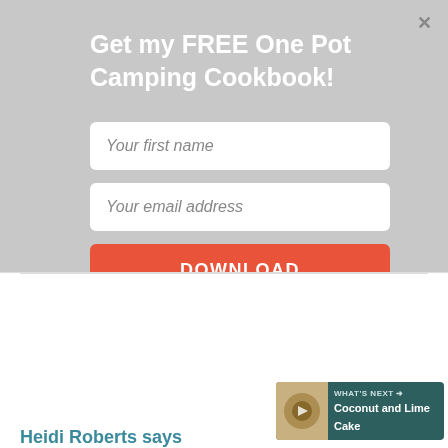Get my FREE One Pot Camping Cookbook!
Your first name
Your email address
DOWNLOAD
Reply
33
[Figure (infographic): What's Next widget showing Coconut and Lime Cake]
Heidi Roberts says